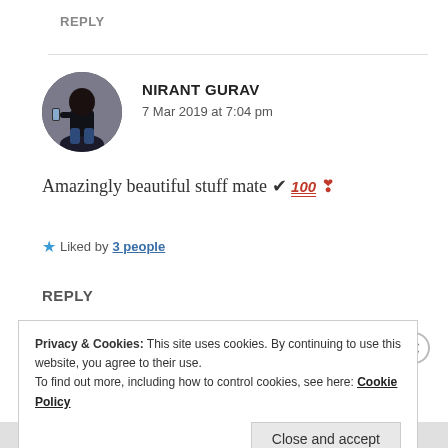REPLY
NIRANT GURAV
7 Mar 2019 at 7:04 pm
Amazingly beautiful stuff mate ✔ 💯 ❣
★ Liked by 3 people
REPLY
Privacy & Cookies: This site uses cookies. By continuing to use this website, you agree to their use.
To find out more, including how to control cookies, see here: Cookie Policy
Close and accept